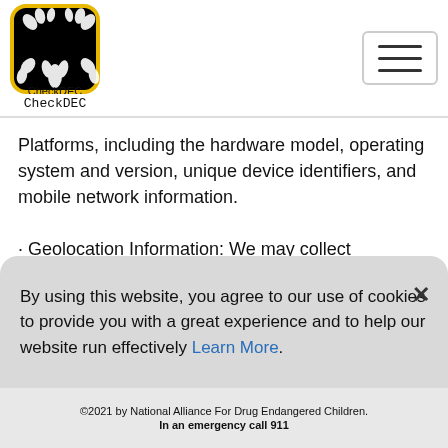[Figure (logo): CheckDEC app logo — black rounded square with white hand silhouettes and 'CheckDEC' text below]
Platforms, including the hardware model, operating system and version, unique device identifiers, and mobile network information.

· Geolocation Information: We may collect information about
[Figure (other): Dark footer bar with 'Download the CheckDEC App' text and App Store download button]
By using this website, you agree to our use of cookies to provide you with a great experience and to help our website run effectively Learn More.
©2021 by National Alliance For Drug Endangered Children.
In an emergency call 911